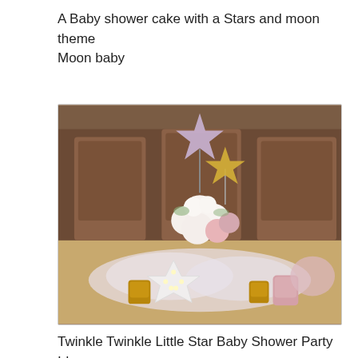A Baby shower cake with a Stars and moon theme Moon baby
[Figure (photo): A baby shower centerpiece arrangement on a table featuring white and pink roses, gold and pink glitter star decorations on sticks, a white star-shaped light-up marquee decoration, cotton cloud-like material, gold votive candle holders, and pink candle holders, with upholstered chairs visible in the background.]
Twinkle Twinkle Little Star Baby Shower Party Ideas